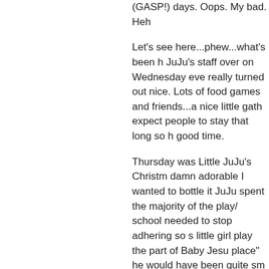(GASP!) days. Oops. My bad. Heh
Let's see here...phew...what's been h JuJu's staff over on Wednesday eve really turned out nice. Lots of food games and friends...a nice little gath expect people to stay that long so h good time.
Thursday was Little JuJu's Christm damn adorable I wanted to bottle it JuJu spent the majority of the play/ school needed to stop adhering so s little girl play the part of Baby Jesu place" he would have been quite sm
Thursday evening we attended a pa quite lovely. That's all, just quite lo and drinks flowing freely into every to cancel on us because her little bo two of Mr. JuJu's staff (both 25 yea jumping on beds and having dinner wouldn't have done to be a fly on th wasn't offered any funny cigarettes